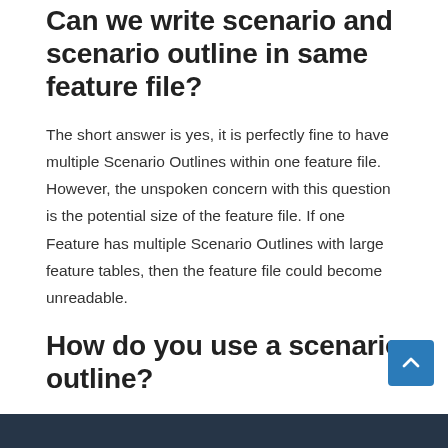Can we write scenario and scenario outline in same feature file?
The short answer is yes, it is perfectly fine to have multiple Scenario Outlines within one feature file. However, the unspoken concern with this question is the potential size of the feature file. If one Feature has multiple Scenario Outlines with large feature tables, then the feature file could become unreadable.
How do you use a scenario outline?
Select and right-click on the package outline. Click on ?New? file. Give the file name such as ?outline.feature? Write the following text within the file and save it. Feature ? Scenario Outline. Scenario Outline ? Login functionality for a social networking site. Given user navigates to Facebook.